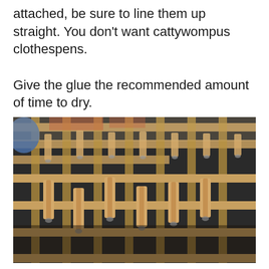attached, be sure to line them up straight. You don't want cattywompus clothespens.

Give the glue the recommended amount of time to dry.
[Figure (photo): A photograph showing a grid-like wooden structure made from clothespins arranged in rows and columns, with metal springs visible, placed on a dark surface. A person's hands/arms in blue sleeves are partially visible at the top left.]